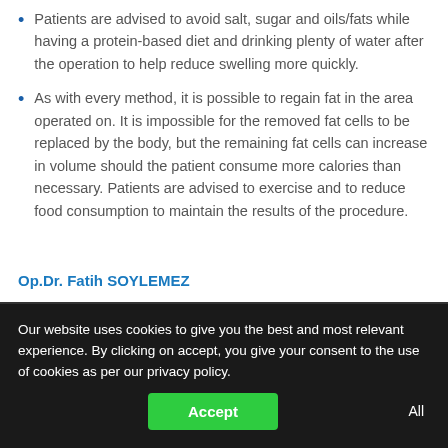Patients are advised to avoid salt, sugar and oils/fats while having a protein-based diet and drinking plenty of water after the operation to help reduce swelling more quickly.
As with every method, it is possible to regain fat in the area operated on. It is impossible for the removed fat cells to be replaced by the body, but the remaining fat cells can increase in volume should the patient consume more calories than necessary. Patients are advised to exercise and to reduce food consumption to maintain the results of the procedure.
Op.Dr. Fatih SOYLEMEZ
Our website uses cookies to give you the best and most relevant experience. By clicking on accept, you give your consent to the use of cookies as per our privacy policy.